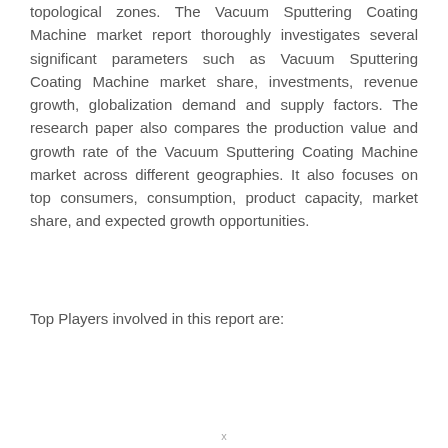topological zones. The Vacuum Sputtering Coating Machine market report thoroughly investigates several significant parameters such as Vacuum Sputtering Coating Machine market share, investments, revenue growth, globalization demand and supply factors. The research paper also compares the production value and growth rate of the Vacuum Sputtering Coating Machine market across different geographies. It also focuses on top consumers, consumption, product capacity, market share, and expected growth opportunities.
Top Players involved in this report are: